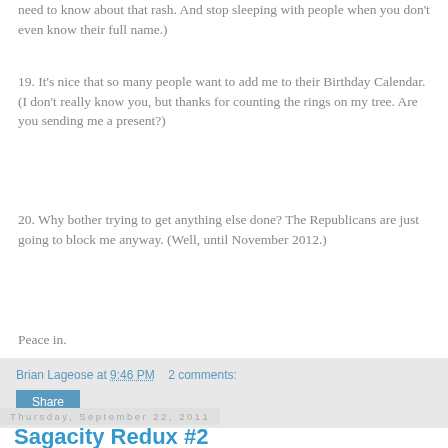need to know about that rash. And stop sleeping with people when you don't even know their full name.)
19. It's nice that so many people want to add me to their Birthday Calendar. (I don't really know you, but thanks for counting the rings on my tree. Are you sending me a present?)
20. Why bother trying to get anything else done? The Republicans are just going to block me anyway. (Well, until November 2012.)
Peace in.
Brian Lageose at 9:46 PM   2 comments:
Share
Thursday, September 22, 2011
Sagacity Redux #2